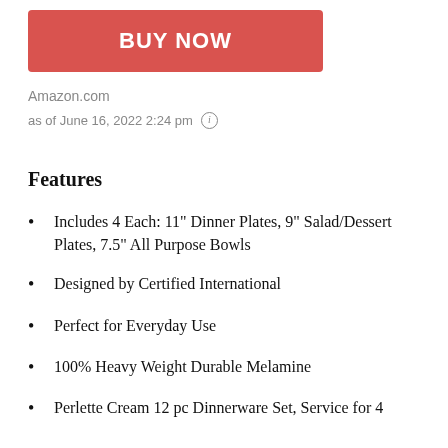BUY NOW
Amazon.com
as of June 16, 2022 2:24 pm ⓘ
Features
Includes 4 Each: 11" Dinner Plates, 9" Salad/Dessert Plates, 7.5" All Purpose Bowls
Designed by Certified International
Perfect for Everyday Use
100% Heavy Weight Durable Melamine
Perlette Cream 12 pc Dinnerware Set, Service for 4